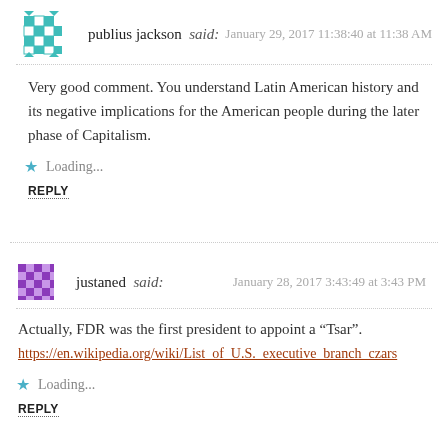publius jackson said: January 29, 2017 11:38:40 at 11:38 AM
Very good comment. You understand Latin American history and its negative implications for the American people during the later phase of Capitalism.
Loading...
REPLY
justaned said: January 28, 2017 3:43:49 at 3:43 PM
Actually, FDR was the first president to appoint a “Tsar”.
https://en.wikipedia.org/wiki/List_of_U.S._executive_branch_czars
Loading...
REPLY